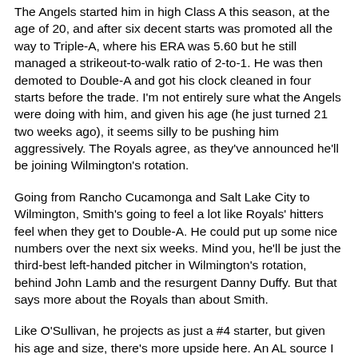The Angels started him in high Class A this season, at the age of 20, and after six decent starts was promoted all the way to Triple-A, where his ERA was 5.60 but he still managed a strikeout-to-walk ratio of 2-to-1. He was then demoted to Double-A and got his clock cleaned in four starts before the trade. I'm not entirely sure what the Angels were doing with him, and given his age (he just turned 21 two weeks ago), it seems silly to be pushing him aggressively. The Royals agree, as they've announced he'll be joining Wilmington's rotation.
Going from Rancho Cucamonga and Salt Lake City to Wilmington, Smith's going to feel a lot like Royals' hitters feel when they get to Double-A. He could put up some nice numbers over the next six weeks. Mind you, he'll be just the third-best left-handed pitcher in Wilmington's rotation, behind John Lamb and the resurgent Danny Duffy. But that says more about the Royals than about Smith.
Like O'Sullivan, he projects as just a #4 starter, but given his age and size, there's more upside here. An AL source I trust likes him a fair amount, and likes the trade for the Royals overall. One of the knocks on Smith coming into the season